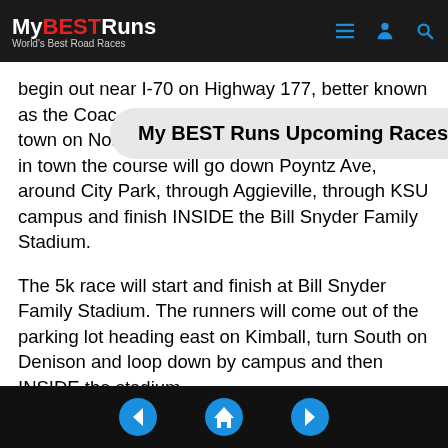MyBESTRuns – World's Best Road Races
begin out near I-70 on Highway 177, better known as the Coach...run into town on Northbound lane on the east side. Once in town the course will go down Poyntz Ave, around City Park, through Aggieville, through KSU campus and finish INSIDE the Bill Snyder Family Stadium.
The 5k race will start and finish at Bill Snyder Family Stadium. The runners will come out of the parking lot heading east on Kimball, turn South on Denison and loop down by campus and then INSIDE the stadium.
All finishers (Half and 5K) this year will receive a Finisher's medal!
◀ 🏠 ▶